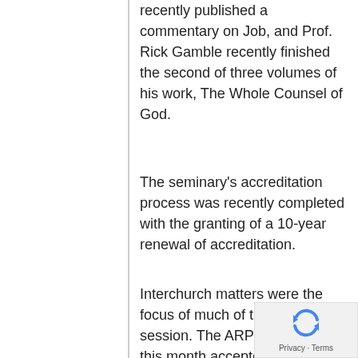recently published a commentary on Job, and Prof. Rick Gamble recently finished the second of three volumes of his work, The Whole Counsel of God.
The seminary's accreditation process was recently completed with the granting of a 10-year renewal of accreditation.
Interchurch matters were the focus of much of the evening session. The ARP Church earlier this month accepted the invitation of the RPCNA for a concurrent Synod in 2019. In 2015 the two synods met concurrently at Bonclarken Conference Center in North Carolina. This time the proposed location is Geneva College in Beaver Falls, Pa., so ARP delegates could have the opportunity to see the RPCNA college
[Figure (other): reCAPTCHA privacy badge with blue circular arrows icon and 'Privacy - Terms' text]